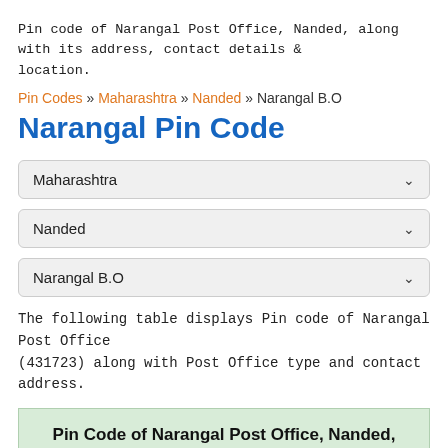Pin code of Narangal Post Office, Nanded, along with its address, contact details & location.
Pin Codes » Maharashtra » Nanded » Narangal B.O
Narangal Pin Code
[Figure (other): Three dropdown selectors showing Maharashtra, Nanded, and Narangal B.O]
The following table displays Pin code of Narangal Post Office (431723) along with Post Office type and contact address.
| Pin Code of Narangal Post Office, Nanded, Maharashtra |
| --- |
| Post Office | Narangal B.O |